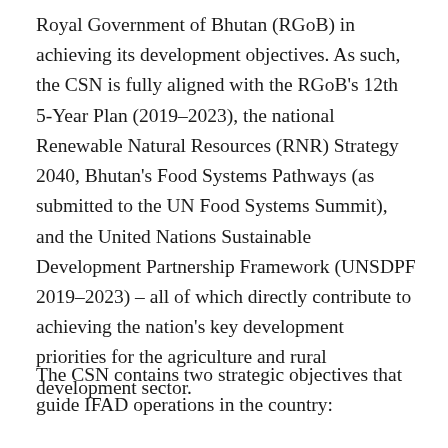Royal Government of Bhutan (RGoB) in achieving its development objectives. As such, the CSN is fully aligned with the RGoB's 12th 5-Year Plan (2019–2023), the national Renewable Natural Resources (RNR) Strategy 2040, Bhutan's Food Systems Pathways (as submitted to the UN Food Systems Summit), and the United Nations Sustainable Development Partnership Framework (UNSDPF 2019–2023) – all of which directly contribute to achieving the nation's key development priorities for the agriculture and rural development sector.
The CSN contains two strategic objectives that guide IFAD operations in the country: